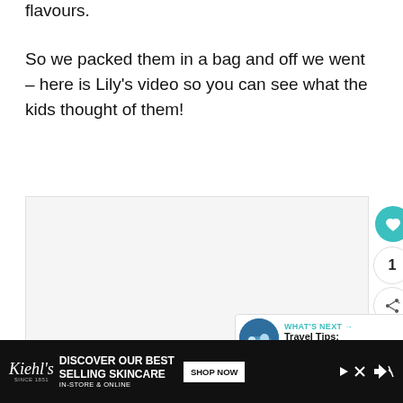flavours.
So we packed them in a bag and off we went – here is Lily's video so you can see what the kids thought of them!
[Figure (screenshot): Embedded video player area, light grey background with three dot pagination indicators at the bottom center. A teal heart/like button, a like count of 1, and a share button are overlaid on the right side. A 'WHAT'S NEXT' card with a swimming pool thumbnail and text 'Travel Tips: SwimFin' appears at the bottom right.]
[Figure (infographic): Kiehl's advertisement banner at the bottom: black background with Kiehl's cursive logo, text 'DISCOVER OUR BEST SELLING SKINCARE IN-STORE & ONLINE', a 'SHOP NOW' button, and media control icons.]